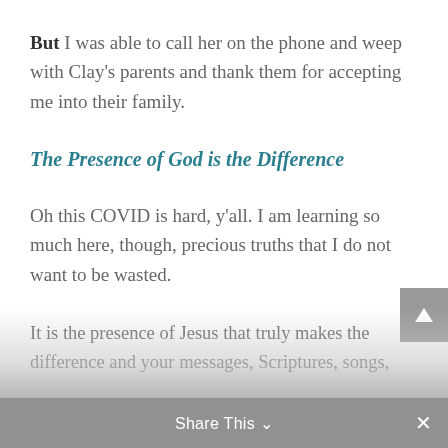But I was able to call her on the phone and weep with Clay's parents and thank them for accepting me into their family.
The Presence of God is the Difference
Oh this COVID is hard, y'all. I am learning so much here, though, precious truths that I do not want to be wasted.
It is the presence of Jesus that truly makes the difference and your messages, Scriptures, songs,
Share This ∨